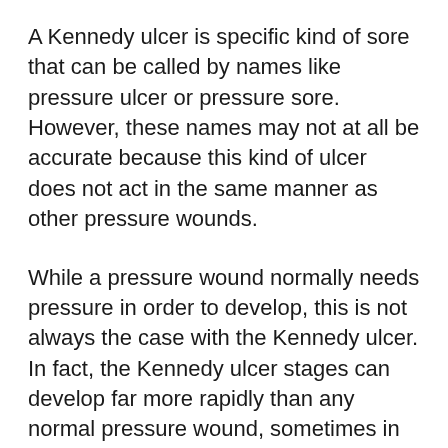A Kennedy ulcer is specific kind of sore that can be called by names like pressure ulcer or pressure sore.  However, these names may not at all be accurate because this kind of ulcer does not act in the same manner as other pressure wounds.
While a pressure wound normally needs pressure in order to develop, this is not always the case with the Kennedy ulcer. In fact, the Kennedy ulcer stages can develop far more rapidly than any normal pressure wound, sometimes in as few as 3-8 hours.
This major difference in the Kennedy ulcer stages and normal pressure ulcer stages are not